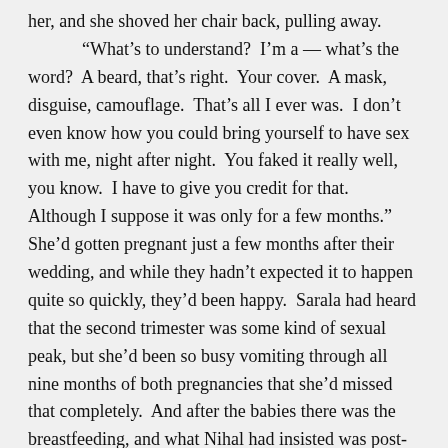her, and she shoved her chair back, pulling away.

“What’s to understand?  I’m a — what’s the word?  A beard, that’s right.  Your cover.  A mask, disguise, camouflage.  That’s all I ever was.  I don’t even know how you could bring yourself to have sex with me, night after night.  You faked it really well, you know.  I have to give you credit for that.  Although I suppose it was only for a few months.”  She’d gotten pregnant just a few months after their wedding, and while they hadn’t expected it to happen quite so quickly, they’d been happy.  Sarala had heard that the second trimester was some kind of sexual peak, but she’d been so busy vomiting through all nine months of both pregnancies that she’d missed that completely.  And after the babies there was the breastfeeding, and what Nihal had insisted was post-partum depression, though she hadn’t agreed, and Gaya and Devi climbing into their bed in the middle of the night.  She could count the number of times they’d had sex in the last